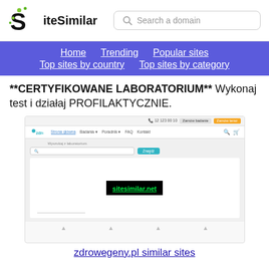[Figure (logo): SiteSimilar logo with stylized S and green dots, with search domain input box]
[Figure (screenshot): Navigation bar with links: Home, Trending, Popular sites, Top sites by country, Top sites by category on purple background]
**CERTYFIKOWANE LABORATORIUM** Wykonaj test i działaj PROFILAKTYCZNIE.
[Figure (screenshot): Screenshot of zdrowegeny.pl website with sitesimilar.net watermark]
zdrowegeny.pl similar sites